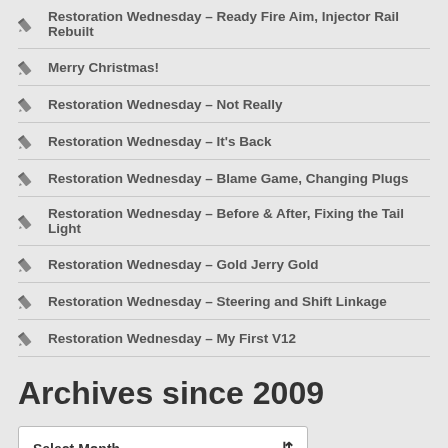Restoration Wednesday – Ready Fire Aim, Injector Rail Rebuilt
Merry Christmas!
Restoration Wednesday – Not Really
Restoration Wednesday – It's Back
Restoration Wednesday – Blame Game, Changing Plugs
Restoration Wednesday – Before & After, Fixing the Tail Light
Restoration Wednesday – Gold Jerry Gold
Restoration Wednesday – Steering and Shift Linkage
Restoration Wednesday – My First V12
Archives since 2009
Select Month